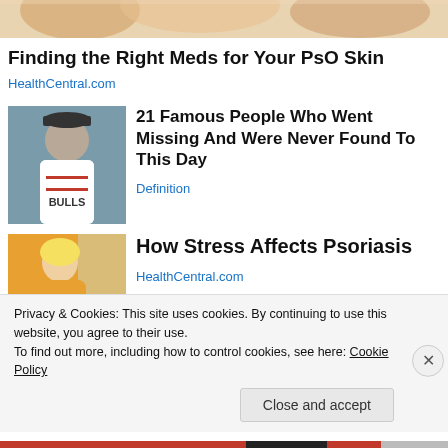[Figure (photo): Cropped image of hands/fingers, partially visible at top of page]
Finding the Right Meds for Your PsO Skin
HealthCentral.com
[Figure (photo): Man wearing a Chicago Bulls basketball jersey and cap, smiling]
21 Famous People Who Went Missing And Were Never Found To This Day
Definition
[Figure (photo): Blonde woman in yellow sweater examining her arm, possibly showing skin condition]
How Stress Affects Psoriasis
HealthCentral.com
Privacy & Cookies: This site uses cookies. By continuing to use this website, you agree to their use.
To find out more, including how to control cookies, see here: Cookie Policy
Close and accept